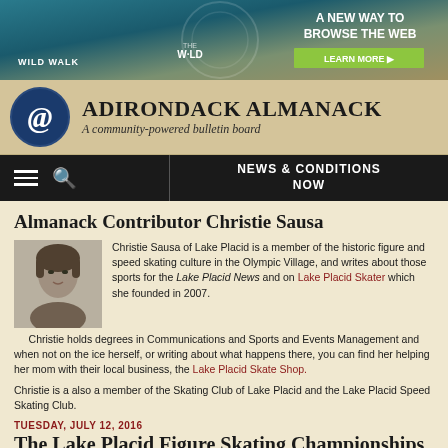[Figure (photo): Advertisement banner for Wild Walk with text 'A NEW WAY TO BROWSE THE WEB' and 'LEARN MORE' button]
[Figure (logo): Adirondack Almanack logo with @ symbol in blue circle and text 'ADIRONDACK ALMANACK - A community-powered bulletin board']
[Figure (screenshot): Navigation bar with hamburger menu, search icon, and NEWS & CONDITIONS NOW button]
Almanack Contributor Christie Sausa
[Figure (photo): Black and white portrait photo of Christie Sausa]
Christie Sausa of Lake Placid is a member of the historic figure and speed skating culture in the Olympic Village, and writes about those sports for the Lake Placid News and on Lake Placid Skater which she founded in 2007.
Christie holds degrees in Communications and Sports and Events Management and when not on the ice herself, or writing about what happens there, you can find her helping her mom with their local business, the Lake Placid Skate Shop.
Christie is a also a member of the Skating Club of Lake Placid and the Lake Placid Speed Skating Club.
TUESDAY, JULY 12, 2016
The Lake Placid Figure Skating Championships